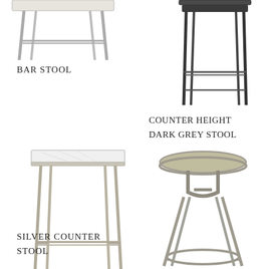[Figure (photo): Partial top view of a bar stool with metal legs, cropped at the top]
BAR STOOL
[Figure (photo): Counter height dark grey stool with thin metal legs, partially cropped at top]
COUNTER HEIGHT DARK GREY STOOL
[Figure (photo): Silver metal counter stool with marble/white seat top and four angled legs with footrest rail]
[Figure (photo): Round seat metal stool with four splayed legs and circular footrest ring, silver/gunmetal finish]
SILVER COUNTER STOOL